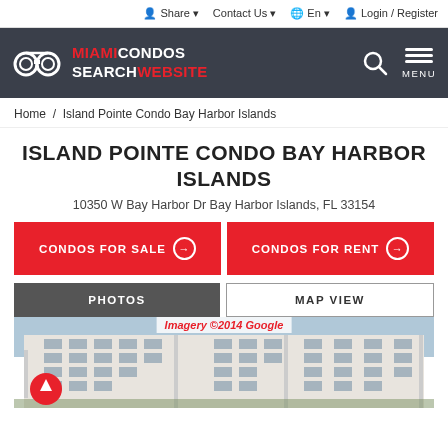Share  Contact Us  En  Login / Register
[Figure (logo): Miami Condos Search Website logo with binoculars icon on dark header background]
Home / Island Pointe Condo Bay Harbor Islands
ISLAND POINTE CONDO BAY HARBOR ISLANDS
10350 W Bay Harbor Dr Bay Harbor Islands, FL 33154
CONDOS FOR SALE
CONDOS FOR RENT
PHOTOS
MAP VIEW
[Figure (photo): Street-level photo of Island Pointe Condo building in Bay Harbor Islands, a multi-story white residential building with balconies. Imagery ©2014 Google watermark visible.]